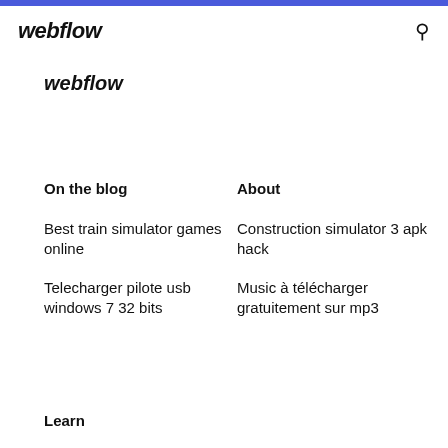webflow
webflow
On the blog
About
Best train simulator games online
Construction simulator 3 apk hack
Telecharger pilote usb windows 7 32 bits
Music à télécharger gratuitement sur mp3
Learn